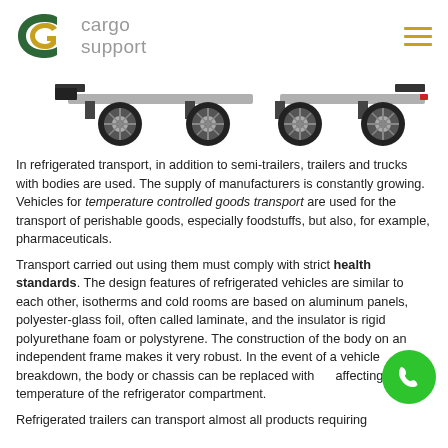cargo support
[Figure (illustration): Side view of a refrigerated trailer/truck chassis showing two wheel axles, a gray beam frame, and red reflector at the rear on white background.]
In refrigerated transport, in addition to semi-trailers, trailers and trucks with bodies are used. The supply of manufacturers is constantly growing. Vehicles for temperature controlled goods transport are used for the transport of perishable goods, especially foodstuffs, but also, for example, pharmaceuticals.
Transport carried out using them must comply with strict health standards. The design features of refrigerated vehicles are similar to each other, isotherms and cold rooms are based on aluminum panels, polyester-glass foil, often called laminate, and the insulator is rigid polyurethane foam or polystyrene. The construction of the body on an independent frame makes it very robust. In the event of a vehicle breakdown, the body or chassis can be replaced without affecting the temperature of the refrigerator compartment.
Refrigerated trailers can transport almost all products requiring